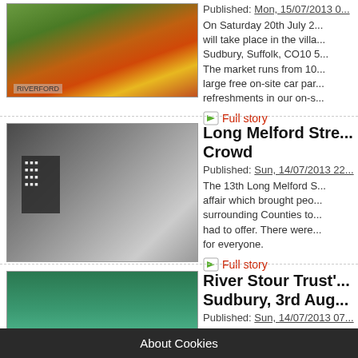[Figure (photo): Box of fresh vegetables including peppers and greens, with Riverford branding]
Published: Mon, 15/07/2013 0...
On Saturday 20th July 2... will take place in the villa... Sudbury, Suffolk, CO10 5... The market runs from 10... large free on-site car par... refreshments in our on-s...
Full story
[Figure (photo): Crowd of people at a street fair in Long Melford, with a chalkboard sign visible]
Long Melford Stre... Crowd
Published: Sun, 14/07/2013 22...
The 13th Long Melford S... affair which brought peo... surrounding Counties to... had to offer. There were... for everyone.
Full story
[Figure (photo): People kayaking and canoeing on a river, with colourful boats on blue-green water]
River Stour Trust'... Sudbury, 3rd Aug...
Published: Sun, 14/07/2013 07...
Bures, near Sudbury. Th... Recreation Ground and i... afternoon offering an op... unusual craft. People of... wet but everyone has fu... spect...
About Cookies